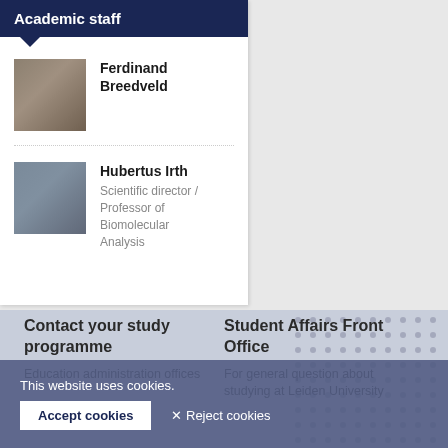Academic staff
Ferdinand Breedveld
Hubertus Irth
Scientific director / Professor of Biomolecular Analysis
Contact your study programme
Education administration offices
Student Affairs Front Office
For general question about studying at Leiden University
This website uses cookies.
Accept cookies
✕ Reject cookies